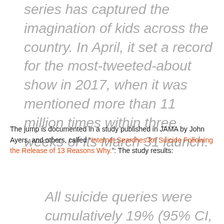series has captured the imagination of kids across the country. In April, it set a record for the most-tweeted-about show in 2017, when it was mentioned more than 11 million times within three weeks of its March 31 launch.
The jump is documented in a study published in JAMA by John Ayers, and others, called “Internet Searches for Suicide Following the Release of 13 Reasons Why.”: The study results:
All suicide queries were cumulatively 19% (95% CI,